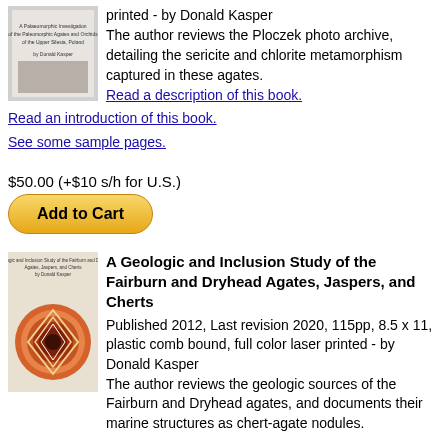[Figure (illustration): Small book cover thumbnail showing text about Paleomorphic Agates and Orchids of the Upper Silesia, Poland by Donald Kasper]
printed - by Donald Kasper
The author reviews the Ploczek photo archive, detailing the sericite and chlorite metamorphism captured in these agates.
Read a description of this book.
Read an introduction of this book.
See some sample pages.
$50.00 (+$10 s/h for U.S.)
Add to Cart
[Figure (illustration): Book cover of A Geologic and Inclusion Study of the Fairburn and Dryhead Agates, Jaspers, and Cherts showing an orange agate cross-section]
A Geologic and Inclusion Study of the Fairburn and Dryhead Agates, Jaspers, and Cherts
Published 2012, Last revision 2020, 115pp, 8.5 x 11, plastic comb bound, full color laser printed - by Donald Kasper
The author reviews the geologic sources of the Fairburn and Dryhead agates, and documents their marine structures as chert-agate nodules.